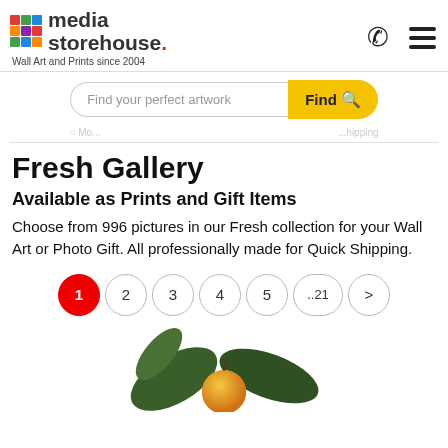media storehouse. Wall Art and Prints since 2004
[Figure (screenshot): Search bar with 'Find your perfect artwork' placeholder and yellow Find button with magnifying glass icon]
Fresh Gallery
Available as Prints and Gift Items
Choose from 996 pictures in our Fresh collection for your Wall Art or Photo Gift. All professionally made for Quick Shipping.
[Figure (infographic): Pagination: 1 (active, red), 2, 3, 4, 5, ..21, >]
[Figure (photo): Bottom partial photo showing a small orange fruit (kumquat) with dark green leaves on white background]